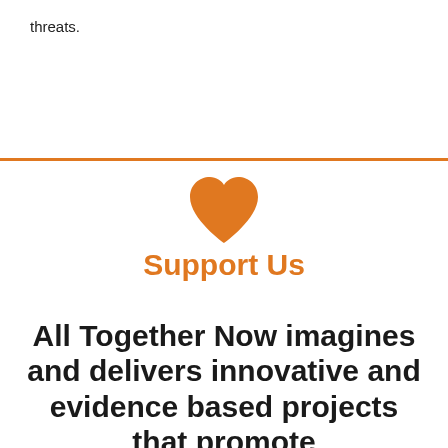threats.
[Figure (illustration): Orange horizontal divider line across the full page width]
[Figure (illustration): Orange heart icon centered on the page]
Support Us
All Together Now imagines and delivers innovative and evidence based projects that promote